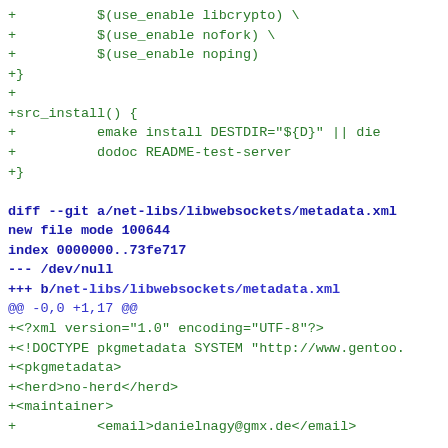+          $(use_enable libcrypto) \
+          $(use_enable nofork) \
+          $(use_enable noping)
+}
+
+src_install() {
+          emake install DESTDIR="${D}" || die
+          dodoc README-test-server
+}

diff --git a/net-libs/libwebsockets/metadata.xml
new file mode 100644
index 0000000..73fe717
--- /dev/null
+++ b/net-libs/libwebsockets/metadata.xml
@@ -0,0 +1,17 @@
+<?xml version="1.0" encoding="UTF-8"?>
+<!DOCTYPE pkgmetadata SYSTEM "http://www.gentoo.
+<pkgmetadata>
+<herd>no-herd</herd>
+<maintainer>
+          <email>danielnagy@gmx.de</email>